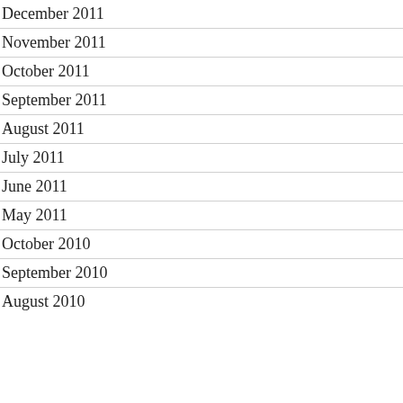December 2011
November 2011
October 2011
September 2011
August 2011
July 2011
June 2011
May 2011
October 2010
September 2010
August 2010